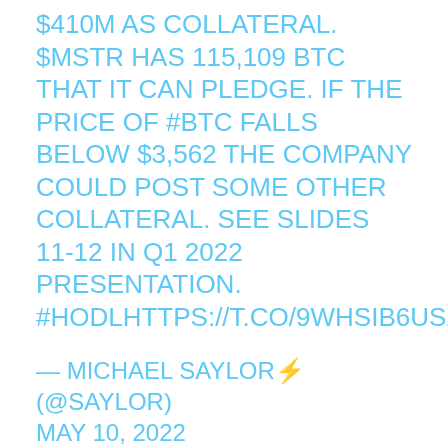$410M AS COLLATERAL. $MSTR HAS 115,109 BTC THAT IT CAN PLEDGE. IF THE PRICE OF #BTC FALLS BELOW $3,562 THE COMPANY COULD POST SOME OTHER COLLATERAL. SEE SLIDES 11-12 IN Q1 2022 PRESENTATION. #HODLHTTPS://T.CO/9WHSIB6USX
— MICHAEL SAYLOR⚡ (@SAYLOR) MAY 10, 2022
Bitcoin is priced around $31,286 at the time of writing, up 4.3% in the past 24 hours and over 6% in the green over the past week. However, BTC/USD is down more than 13% in the past 30 days and remains more than 54% off its all-time high